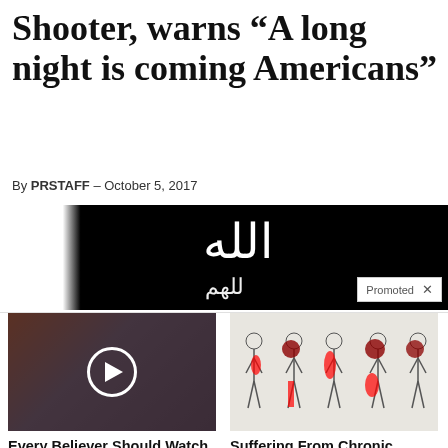Shooter, warns "A long night is coming Americans"
By PRSTAFF - October 5, 2017
[Figure (photo): Dark banner image with Arabic text on black background, with a 'Promoted X' badge in lower right corner]
[Figure (photo): Ad image showing group of politicians with video play button overlay]
Every Believer Should Watch This (It Will Blow Your Mind)
376,973
[Figure (illustration): Ad image showing body silhouettes highlighting sciatic nerve pain areas in red]
Suffering From Chronic Sciatic Nerve Pain? Here's A Secret You Need To Know
86,727